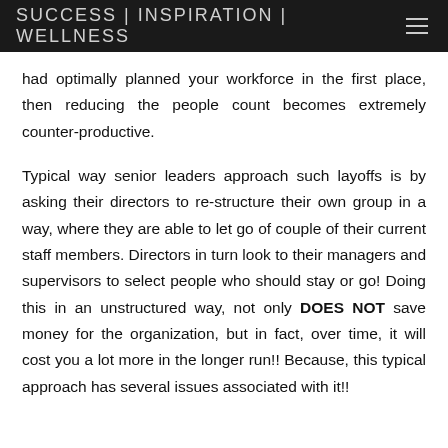SUCCESS | INSPIRATION | WELLNESS
had optimally planned your workforce in the first place, then reducing the people count becomes extremely counter-productive.
Typical way senior leaders approach such layoffs is by asking their directors to re-structure their own group in a way, where they are able to let go of couple of their current staff members. Directors in turn look to their managers and supervisors to select people who should stay or go! Doing this in an unstructured way, not only DOES NOT save money for the organization, but in fact, over time, it will cost you a lot more in the longer run!! Because, this typical approach has several issues associated with it!!